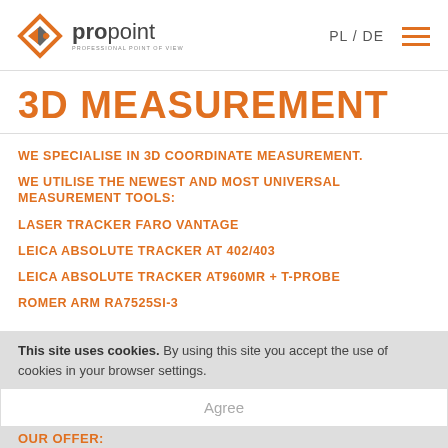propoint — PL / DE
3D MEASUREMENT
WE SPECIALISE IN 3D COORDINATE MEASUREMENT.
WE UTILISE THE NEWEST AND MOST UNIVERSAL MEASUREMENT TOOLS:
LASER TRACKER FARO VANTAGE
LEICA ABSOLUTE TRACKER AT 402/403
LEICA ABSOLUTE TRACKER AT960MR + T-PROBE
ROMER ARM RA7525SI-3
This site uses cookies. By using this site you accept the use of cookies in your browser settings. Agree
OUR OFFER: